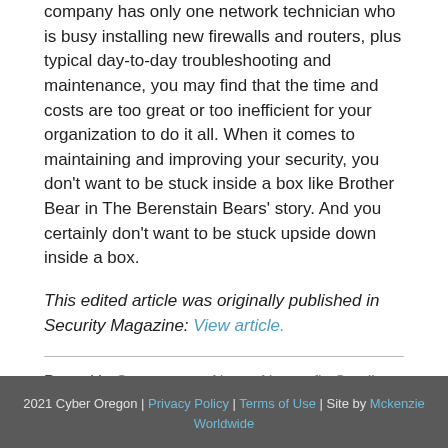company has only one network technician who is busy installing new firewalls and routers, plus typical day-to-day troubleshooting and maintenance, you may find that the time and costs are too great or too inefficient for your organization to do it all. When it comes to maintaining and improving your security, you don't want to be stuck inside a box like Brother Bear in The Berenstain Bears' story. And you certainly don't want to be stuck upside down inside a box.
This edited article was originally published in Security Magazine: View article.
Posted in Government, News, Nonprofit, Small Business
2021 Cyber Oregon | Privacy Policy | Terms of Use | Site by Mckenzie Worldwide